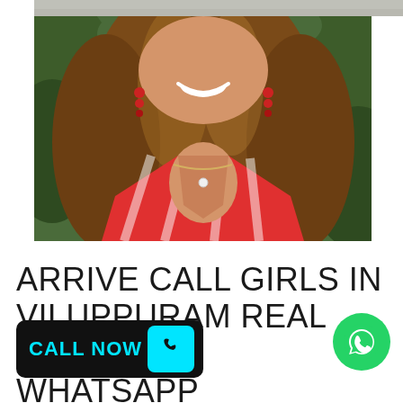[Figure (photo): Photo of a woman with long wavy brown hair wearing a red plaid shirt, smiling, with green foliage in background. Red beaded earrings visible.]
ARRIVE CALL GIRLS IN VILUPPURAM REAL VERIFIED WHATSAPP NUMBER
[Figure (infographic): Black rounded rectangle badge with cyan text CALL NOW and a cyan phone icon box on the right side]